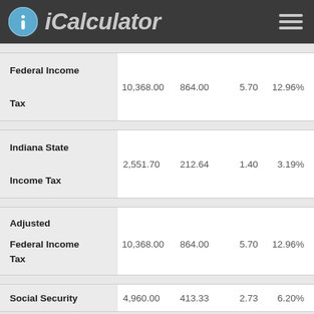iCalculator
|  |  |  |  |  |
| --- | --- | --- | --- | --- |
| Federal Income Tax | 10,368.00 | 864.00 | 5.70 | 12.96% |
| Indiana State Income Tax | 2,551.70 | 212.64 | 1.40 | 3.19% |
| Adjusted Federal Income Tax | 10,368.00 | 864.00 | 5.70 | 12.96% |
| Social Security | 4,960.00 | 413.33 | 2.73 | 6.20% |
| Medicare | 1,160.00 | 96.67 | 0.64 | 1.45% |